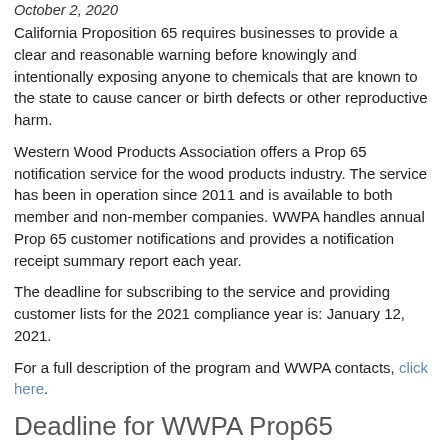October 2, 2020
California Proposition 65 requires businesses to provide a clear and reasonable warning before knowingly and intentionally exposing anyone to chemicals that are known to the state to cause cancer or birth defects or other reproductive harm.
Western Wood Products Association offers a Prop 65 notification service for the wood products industry. The service has been in operation since 2011 and is available to both member and non-member companies. WWPA handles annual Prop 65 customer notifications and provides a notification receipt summary report each year.
The deadline for subscribing to the service and providing customer lists for the 2021 compliance year is: January 12, 2021.
For a full description of the program and WWPA contacts, click here.
Deadline for WWPA Prop65 Notification Program, January 12, 2021!
October 2, 2020
California Proposition 65 requires businesses to provide a clear and reasonable warning before knowingly and intentionally exposing